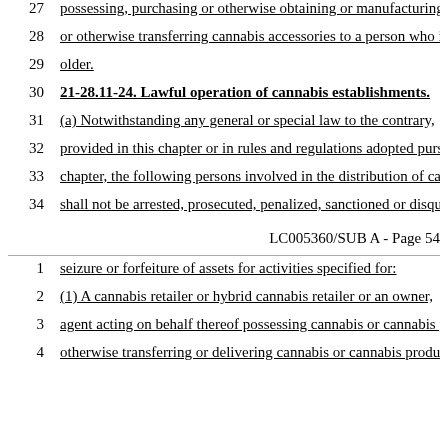27    possessing, purchasing or otherwise obtaining or manufacturing c
28    or otherwise transferring cannabis accessories to a person who is
29    older.
30    21-28.11-24. Lawful operation of cannabis establishments.
31    (a) Notwithstanding any general or special law to the contrary,
32    provided in this chapter or in rules and regulations adopted pursu
33    chapter, the following persons involved in the distribution of cann
34    shall not be arrested, prosecuted, penalized, sanctioned or disqual
LC005360/SUB A - Page 54
1    seizure or forfeiture of assets for activities specified for:
2    (1) A cannabis retailer or hybrid cannabis retailer or an owner,
3    agent acting on behalf thereof possessing cannabis or cannabis pr
4    otherwise transferring or delivering cannabis or cannabis products